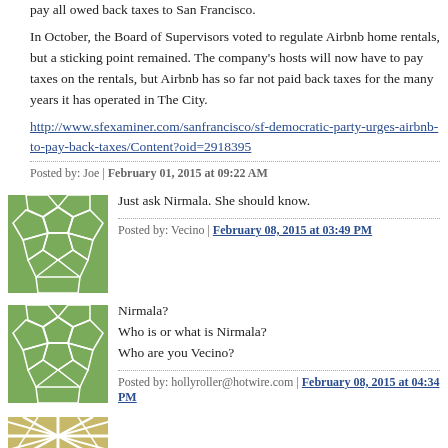pay all owed back taxes to San Francisco.
In October, the Board of Supervisors voted to regulate Airbnb home rentals, but a sticking point remained. The company's hosts will now have to pay taxes on the rentals, but Airbnb has so far not paid back taxes for the many years it has operated in The City.
http://www.sfexaminer.com/sanfrancisco/sf-democratic-party-urges-airbnb-to-pay-back-taxes/Content?oid=2918395
Posted by: Joe | February 01, 2015 at 09:22 AM
[Figure (illustration): Green avatar with soccer ball pattern]
Just ask Nirmala. She should know.
Posted by: Vecino | February 08, 2015 at 03:49 PM
[Figure (illustration): Green avatar with soccer ball pattern]
Nirmala?
Who is or what is Nirmala?
Who are you Vecino?
Posted by: hollyroller@hotwire.com | February 08, 2015 at 04:34 PM
[Figure (illustration): Green avatar with sunburst pattern, partially visible at bottom]